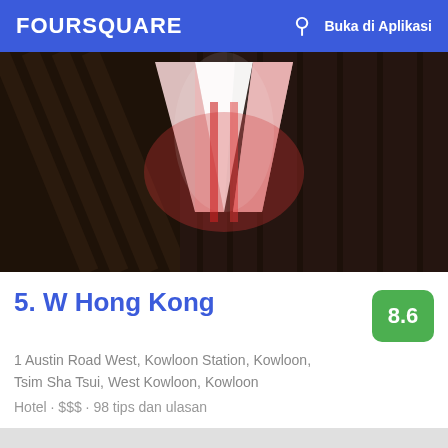FOURSQUARE  Buka di Aplikasi
[Figure (photo): Dark interior photo showing illuminated W hotel logo in red/pink on a dark wooden background]
5. W Hong Kong
1 Austin Road West, Kowloon Station, Kowloon, Tsim Sha Tsui, West Kowloon, Kowloon
Hotel · $$$ · 98 tips dan ulasan
[Figure (photo): Night scene photo showing Hong Kong harbour with city lights reflected on water, taken from a bar or rooftop with railing in foreground]